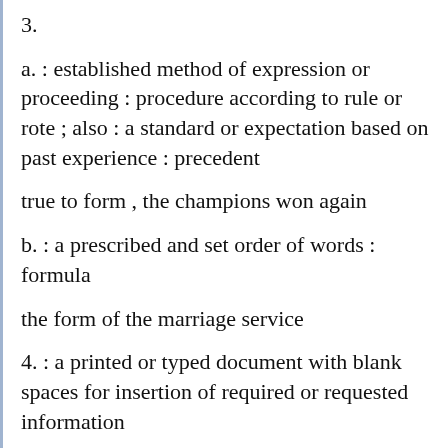3.
a. : established method of expression or proceeding : procedure according to rule or rote ; also : a standard or expectation based on past experience : precedent
true to form , the champions won again
b. : a prescribed and set order of words : formula
the form of the marriage service
4. : a printed or typed document with blank spaces for insertion of required or requested information